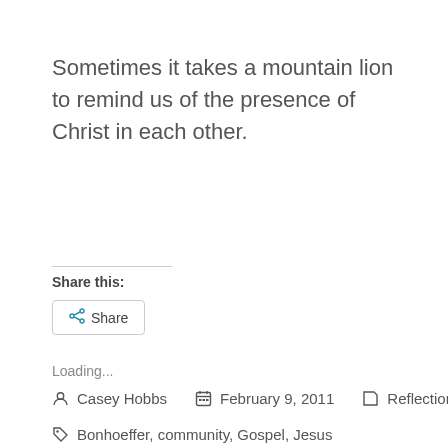Sometimes it takes a mountain lion to remind us of the presence of Christ in each other.
Share this:
Share
Loading...
Casey Hobbs   February 9, 2011   Reflections
Bonhoeffer, community, Gospel, Jesus